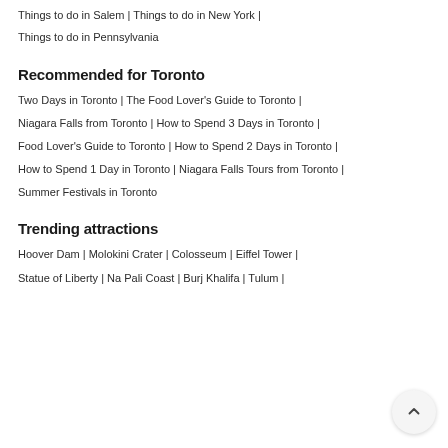Things to do in Long Island | Things to do in Boston | Things to do in Salem | Things to do in New York | Things to do in Pennsylvania
Recommended for Toronto
Two Days in Toronto | The Food Lover's Guide to Toronto | Niagara Falls from Toronto | How to Spend 3 Days in Toronto | Food Lover's Guide to Toronto | How to Spend 2 Days in Toronto | How to Spend 1 Day in Toronto | Niagara Falls Tours from Toronto | Summer Festivals in Toronto
Trending attractions
Hoover Dam | Molokini Crater | Colosseum | Eiffel Tower | Statue of Liberty | Na Pali Coast | Burj Khalifa | Tulum |